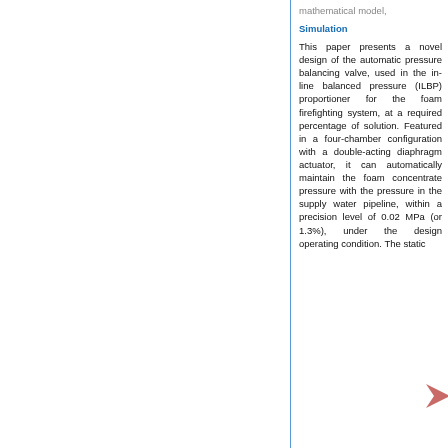mathematical model, Simulation
This paper presents a novel design of the automatic pressure balancing valve, used in the in-line balanced pressure (ILBP) proportioner for the foam firefighting system, at a required percentage of solution. Featured in a four-chamber configuration with a double-acting diaphragm actuator, it can automatically maintain the foam concentrate pressure with the pressure in the supply water pipeline, within a precision level of 0.02 MPa (or 1.3%), under the design operating condition. The static